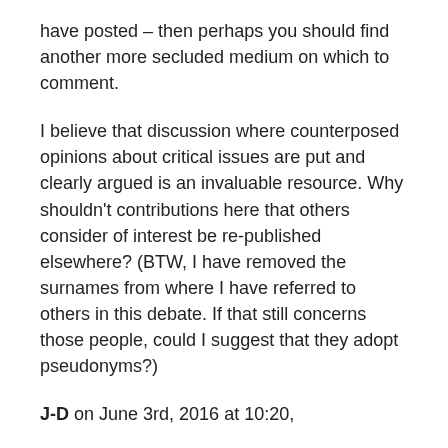have posted – then perhaps you should find another more secluded medium on which to comment.
I believe that discussion where counterposed opinions about critical issues are put and clearly argued is an invaluable resource. Why shouldn't contributions here that others consider of interest be re-published elsewhere? (BTW, I have removed the surnames from where I have referred to others in this debate. If that still concerns those people, could I suggest that they adopt pseudonyms?)
J-D on June 3rd, 2016 at 10:20,
Mikhail Gorbachev and former Soviet Foreign Minister Eduard Shevardnadze (1928-2014) maintain that Ronald Reagan did agree not to expand NATO beyond Germany. Whether or not this